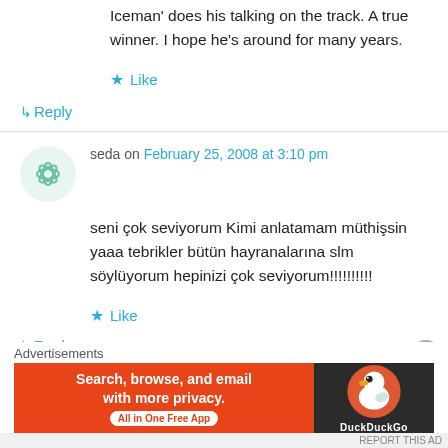Iceman' does his talking on the track. A true winner. I hope he's around for many years.
Like
↳ Reply
seda on February 25, 2008 at 3:10 pm
seni çok seviyorum Kimi anlatamam müthişsin yaaa tebrikler bütün hayranalarına slm söylüyorum hepinizi çok seviyorum!!!!!!!!!!
Like
↳ Reply
Advertisements
[Figure (other): DuckDuckGo advertisement banner: orange left side with text 'Search, browse, and email with more privacy.' and 'All in One Free App' pill button; dark right side with DuckDuckGo logo and duck icon.]